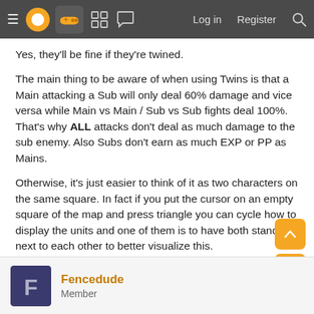≡ [logo] [controller icon] [grid icon] [chat icon] | Log in   Register [search]
Yes, they'll be fine if they're twined.
The main thing to be aware of when using Twins is that a Main attacking a Sub will only deal 60% damage and vice versa while Main vs Main / Sub vs Sub fights deal 100%. That's why ALL attacks don't deal as much damage to the sub enemy. Also Subs don't earn as much EXP or PP as Mains.
Otherwise, it's just easier to think of it as two characters on the same square. In fact if you put the cursor on an empty square of the map and press triangle you can cycle how to display the units and one of them is to have both standing next to each other to better visualize this.
Fencedude
Member